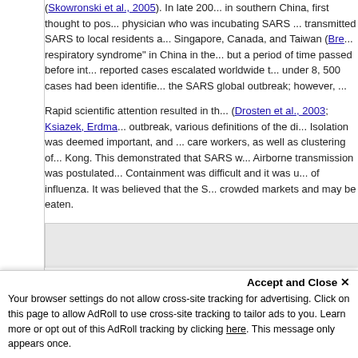(Skowronski et al., 2005). In late 200... in southern China, first thought to pos... physician who was incubating SARS ... transmitted SARS to local residents a... Singapore, Canada, and Taiwan (Bre... respiratory syndrome" in China in the... but a period of time passed before int... reported cases escalated worldwide t... under 8, 500 cases had been identifie... the SARS global outbreak; however, ...
Rapid scientific attention resulted in th... (Drosten et al., 2003; Ksiazek, Erdma... outbreak, various definitions of the di... Isolation was deemed important, and ... care workers, as well as clustering of... Kong. This demonstrated that SARS w... Airborne transmission was postulated... Containment was difficult and it was u... of influenza. It was believed that the S... crowded markets and may be eaten.
Accept and Close ✕
Your browser settings do not allow cross-site tracking for advertising. Click on this page to allow AdRoll to use cross-site tracking to tailor ads to you. Learn more or opt out of this AdRoll tracking by clicking here. This message only appears once.